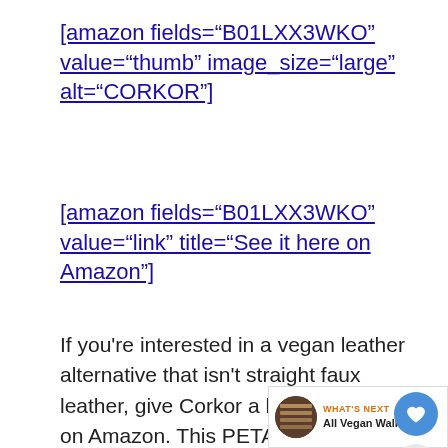[amazon fields="B01LXX3WKO" value="thumb" image_size="large" alt="CORKOR"]
[amazon fields="B01LXX3WKO" value="link" title="See it here on Amazon"]
If you're interested in a vegan leather alternative that isn't straight faux leather, give Corkor a look-through on Amazon. This PETA-backed brand makes long and short bifold wallets out of renewable cork. The resulting products are truly one-of-a-kind wallets with etched patterns that